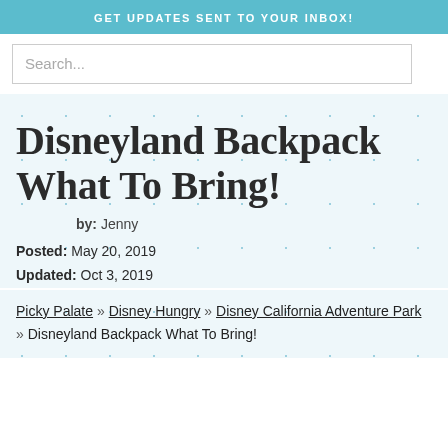GET UPDATES SENT TO YOUR INBOX!
Search...
Disneyland Backpack What To Bring!
by: Jenny
Posted: May 20, 2019
Updated: Oct 3, 2019
Picky Palate » Disney Hungry » Disney California Adventure Park » Disneyland Backpack What To Bring!